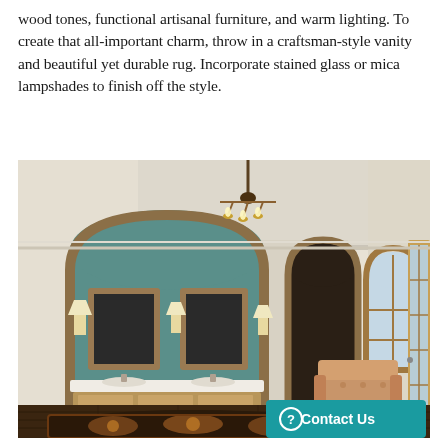wood tones, functional artisanal furniture, and warm lighting. To create that all-important charm, throw in a craftsman-style vanity and beautiful yet durable rug. Incorporate stained glass or mica lampshades to finish off the style.
[Figure (illustration): 3D rendered interior of a craftsman-style bathroom/room featuring a wide wood vanity with two sinks and mirrors set in a teal arched nook, a chandelier, an ornate floral area rug, a tan leather armchair, arched doorways, dark hardwood floors, and a Contact Us button overlay in teal at the bottom right.]